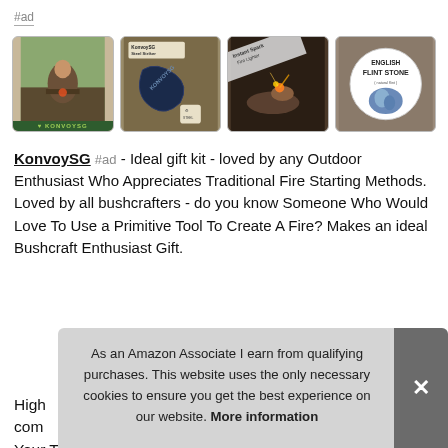#ad
[Figure (photo): Four product images in a row: 1) Person starting a fire outdoors with a KonvoySG logo, 2) Steel Striker carabiner tool on gravel background, 3) Hands striking flint over tinder creating sparks, 4) English Flint Stone product image with a blue flint stone]
KonvoySG #ad - Ideal gift kit - loved by any Outdoor Enthusiast Who Appreciates Traditional Fire Starting Methods. Loved by all bushcrafters - do you know Someone Who Would Love To Use a Primitive Tool To Create A Fire? Makes an ideal Bushcraft Enthusiast Gift.
High... com... Your Tinder And Fire Encased in a Stylish Leather Pouch
As an Amazon Associate I earn from qualifying purchases. This website uses the only necessary cookies to ensure you get the best experience on our website. More information